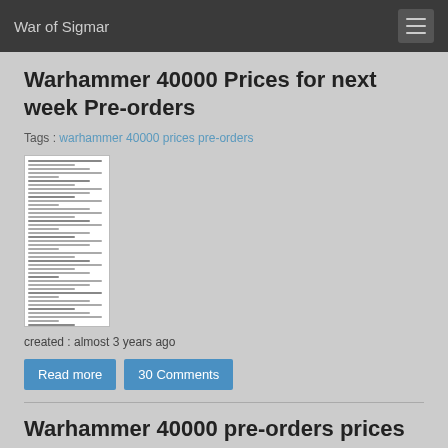War of Sigmar
Warhammer 40000 Prices for next week Pre-orders
Tags : warhammer 40000 prices pre-orders
[Figure (table-as-image): Thumbnail image of a price table for Warhammer 40000 pre-orders]
created : almost 3 years ago
Read more  30 Comments
Warhammer 40000 pre-orders prices